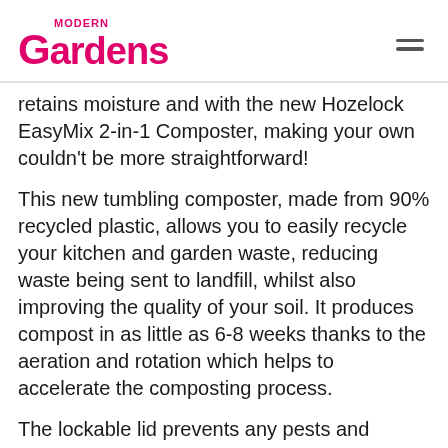Modern Gardens
retains moisture and with the new Hozelock EasyMix 2-in-1 Composter, making your own couldn't be more straightforward!
This new tumbling composter, made from 90% recycled plastic, allows you to easily recycle your kitchen and garden waste, reducing waste being sent to landfill, whilst also improving the quality of your soil. It produces compost in as little as 6-8 weeks thanks to the aeration and rotation which helps to accelerate the composting process.
The lockable lid prevents any pests and unpleasant smells and you can roll the drum